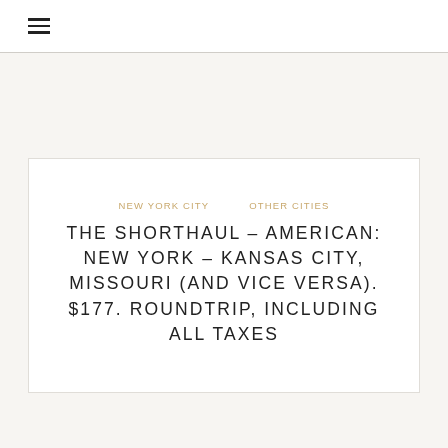☰
NEW YORK CITY  OTHER CITIES
THE SHORTHAUL – AMERICAN: NEW YORK – KANSAS CITY, MISSOURI (AND VICE VERSA). $177. ROUNDTRIP, INCLUDING ALL TAXES